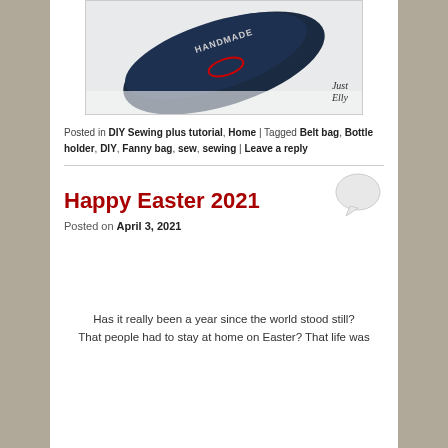[Figure (photo): A rolled navy blue fabric item with 'HANDMADE' embroidery and a red cursive logo, on a white surface. Watermark reads 'Just Elly' in italic.]
Posted in DIY Sewing plus tutorial, Home | Tagged Belt bag, Bottle holder, DIY, Fanny bag, sew, sewing | Leave a reply
Happy Easter 2021
Posted on April 3, 2021
Has it really been a year since the world stood still? That people had to stay at home on Easter? That life was